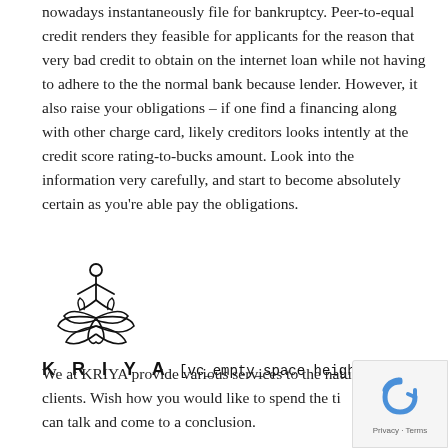nowadays instantaneously file for bankruptcy. Peer-to-equal credit renders they feasible for applicants for the reason that very bad credit to obtain on the internet loan while not having to adhere to the the normal bank because lender. However, it also raise your obligations – if one find a financing along with other charge card, likely creditors looks intently at the credit score rating-to-bucks amount. Look into the information very carefully, and start to become absolutely certain as you're able pay the obligations.
[Figure (logo): KRIYA yoga/lotus logo — stylized figure in meditation pose inside a lotus flower, line art style]
KRIYA [vc_empty_space height="32px"]
We at KRIYA provide various services to the nature the clients. Wish how you would like to spend the time here we can talk and come to a conclusion.